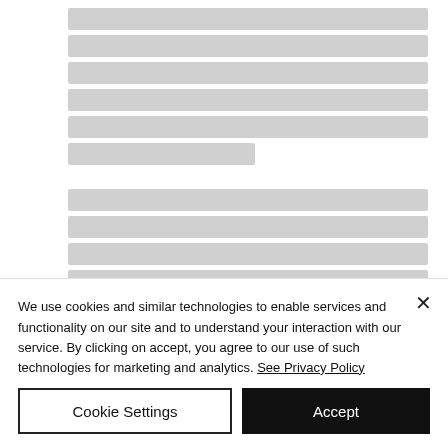[Figure (screenshot): Background page content with two blocks of redacted/blurred text lines, shown as gray rectangles]
We use cookies and similar technologies to enable services and functionality on our site and to understand your interaction with our service. By clicking on accept, you agree to our use of such technologies for marketing and analytics. See Privacy Policy
Cookie Settings
Accept